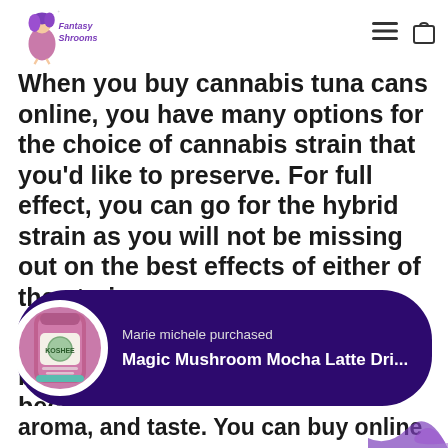Fantasy Shrooms [logo] [hamburger menu] [bag icon]
When you buy cannabis tuna cans online, you have many options for the choice of cannabis strain that you'd like to preserve. For full effect, you can go for the hybrid strain as you will not be missing out on the best effects of either of the strains.
Buying cannabis online has never been easier and its preservation becomes much easier with the
[Figure (screenshot): Popup notification showing 'Marie michele purchased' with product image of Magic Mushroom Mocha Latte Dri... on a dark purple rounded rectangle background]
aroma, and taste. You can buy online